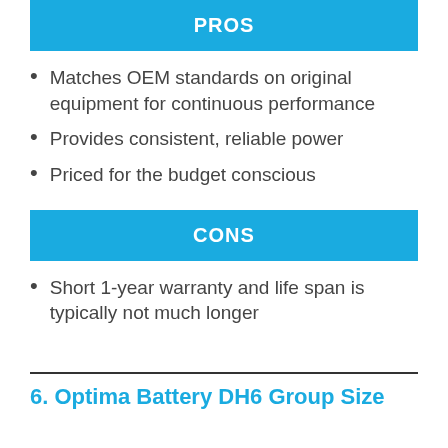PROS
Matches OEM standards on original equipment for continuous performance
Provides consistent, reliable power
Priced for the budget conscious
CONS
Short 1-year warranty and life span is typically not much longer
6. Optima Battery DH6 Group Size